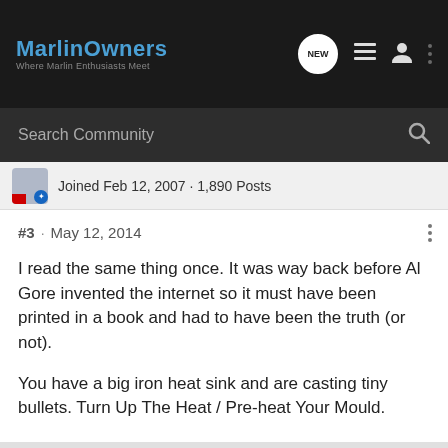MarlinOwners — Where Marlin Enthusiasts Meet
Search Community
Joined Feb 12, 2007 · 1,890 Posts
#3 · May 12, 2014
I read the same thing once. It was way back before Al Gore invented the internet so it must have been printed in a book and had to have been the truth (or not).

You have a big iron heat sink and are casting tiny bullets. Turn Up The Heat / Pre-heat Your Mould.

..
BloodGroove4570 and myflatline